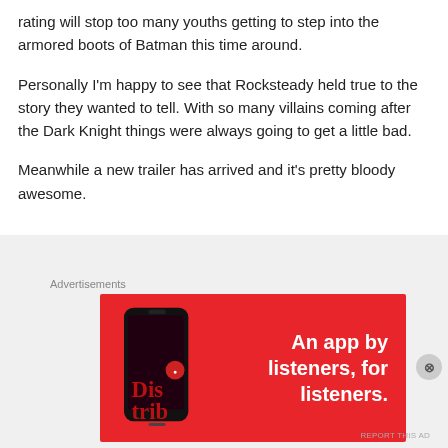rating will stop too many youths getting to step into the armored boots of Batman this time around.
Personally I'm happy to see that Rocksteady held true to the story they wanted to tell. With so many villains coming after the Dark Knight things were always going to get a little bad.
Meanwhile a new trailer has arrived and it's pretty bloody awesome.
Advertisements
[Figure (illustration): Advertisement banner for a podcast/music app called Distrib. Red background with a smartphone on the left and white bold text on the right reading 'An app by listeners, for listeners.']
Advertisements